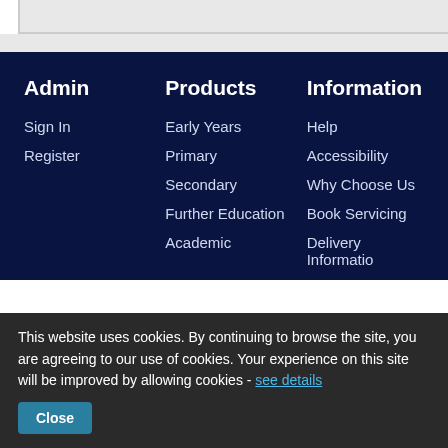Admin
Sign In
Register
Products
Early Years
Primary
Secondary
Further Education
Academic
Information
Help
Accessibility
Why Choose Us
Book Servicing
Delivery Information
This website uses cookies. By continuing to browse the site, you are agreeing to our use of cookies. Your experience on this site will be improved by allowing cookies - see details
Close